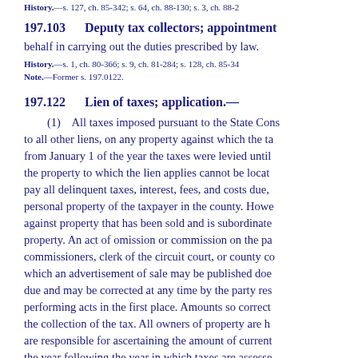History.—s. 127, ch. 85-342; s. 64, ch. 88-130; s. 3, ch. 88-2...
197.103    Deputy tax collectors; appointment...
behalf in carrying out the duties prescribed by law.
History.—s. 1, ch. 80-366; s. 9, ch. 81-284; s. 128, ch. 85-34...
Note.—Former s. 197.0122.
197.122    Lien of taxes; application.—
(1)    All taxes imposed pursuant to the State Cons... to all other liens, on any property against which the ta... from January 1 of the year the taxes were levied until... the property to which the lien applies cannot be locat... pay all delinquent taxes, interest, fees, and costs due,... personal property of the taxpayer in the county. Howe... against property that has been sold and is subordinate... property. An act of omission or commission on the pa... commissioners, clerk of the circuit court, or county co... which an advertisement of sale may be published doe... due and may be corrected at any time by the party res... performing acts in the first place. Amounts so correct... the collection of the tax. All owners of property are h... are responsible for ascertaining the amount of current... the year following the year in which taxes are assesse... nonpayment of taxes may not be held invalid except n...